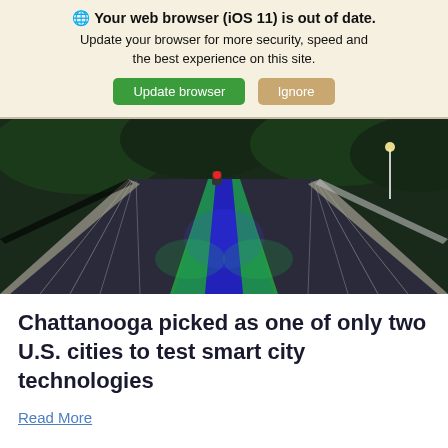🌐 Your web browser (iOS 11) is out of date. Update your browser for more security, speed and the best experience on this site. [Update browser] [Ignore]
[Figure (photo): A pedestrian bridge with colorful LED lighting — blue, green, and purple hues illuminate the walkway at night, with trees and a streetlight in the background.]
Chattanooga picked as one of only two U.S. cities to test smart city technologies
Read More